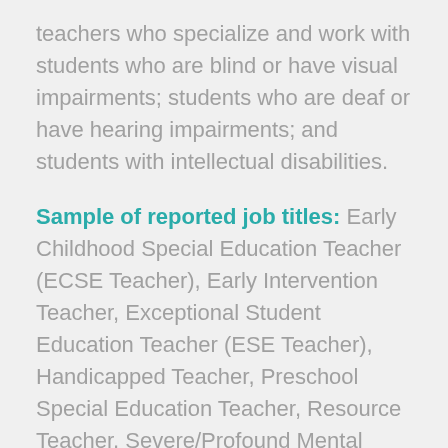teachers who specialize and work with students who are blind or have visual impairments; students who are deaf or have hearing impairments; and students with intellectual disabilities.
Sample of reported job titles: Early Childhood Special Education Teacher (ECSE Teacher), Early Intervention Teacher, Exceptional Student Education Teacher (ESE Teacher), Handicapped Teacher, Preschool Special Education Teacher, Resource Teacher, Severe/Profound Mental Handicaps Special Education Teacher, Special Education Resource